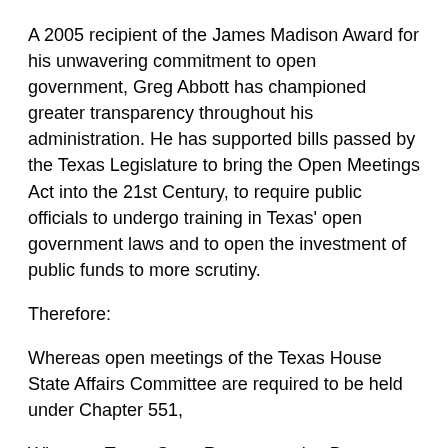A 2005 recipient of the James Madison Award for his unwavering commitment to open government, Greg Abbott has championed greater transparency throughout his administration. He has supported bills passed by the Texas Legislature to bring the Open Meetings Act into the 21st Century, to require public officials to undergo training in Texas' open government laws and to open the investment of public funds to more scrutiny.
Therefore:
Whereas open meetings of the Texas House State Affairs Committee are required to be held under Chapter 551,
Whereas Texas State Representative Byron Cook did violate Section 551.023 of the Texas Government Code, which allows any person attending an open meeting to record the meeting by means of a video camera, recorder, or similar device, and to impose unrestricted limitations,